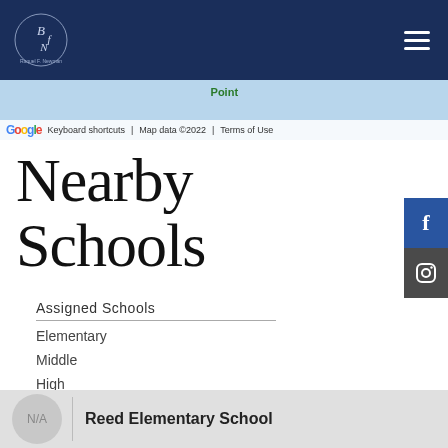[Figure (screenshot): Website header with dark navy blue background, logo for Raquel F. Newman on the left and hamburger menu icon on the right]
[Figure (screenshot): Google Maps strip showing partial map with 'Point' label, Google branding, Keyboard shortcuts, Map data ©2022, Terms of Use]
Nearby Schools
Assigned Schools
Elementary
Middle
High
N/A  Reed Elementary School